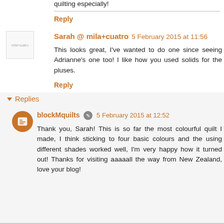quilting especially!
Reply
Sarah @ mila+cuatro  5 February 2015 at 11:56
This looks great, I've wanted to do one since seeing Adrianne's one too! I like how you used solids for the pluses.
Reply
Replies
blockMquilts  5 February 2015 at 12:52
Thank you, Sarah! This is so far the most colourful quilt I made, I think sticking to four basic colours and the using different shades worked well, I'm very happy how it turned out! Thanks for visiting aaaaall the way from New Zealand, love your blog!